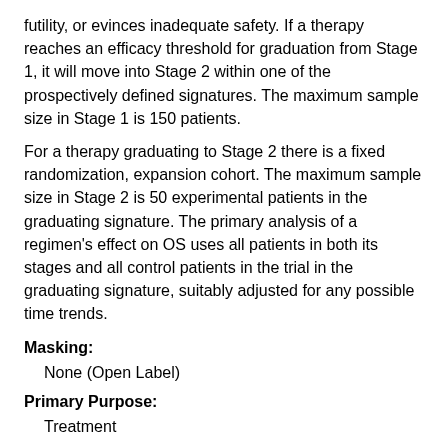futility, or evinces inadequate safety. If a therapy reaches an efficacy threshold for graduation from Stage 1, it will move into Stage 2 within one of the prospectively defined signatures. The maximum sample size in Stage 1 is 150 patients.
For a therapy graduating to Stage 2 there is a fixed randomization, expansion cohort. The maximum sample size in Stage 2 is 50 experimental patients in the graduating signature. The primary analysis of a regimen's effect on OS uses all patients in both its stages and all control patients in the trial in the graduating signature, suitably adjusted for any possible time trends.
Masking:
None (Open Label)
Primary Purpose:
Treatment
Official Title:
GBM AGILE: Global Adaptive Trial Master Protocol: An